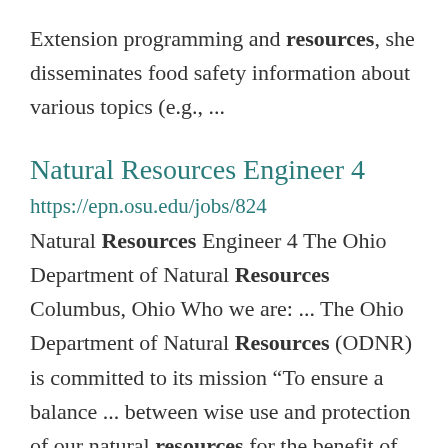Extension programming and resources, she disseminates food safety information about various topics (e.g., ...
Natural Resources Engineer 4
https://epn.osu.edu/jobs/824
Natural Resources Engineer 4 The Ohio Department of Natural Resources Columbus, Ohio Who we are: ... The Ohio Department of Natural Resources (ODNR) is committed to its mission “To ensure a balance ... between wise use and protection of our natural resources for the benefit of all.” Our agency embraces the ...